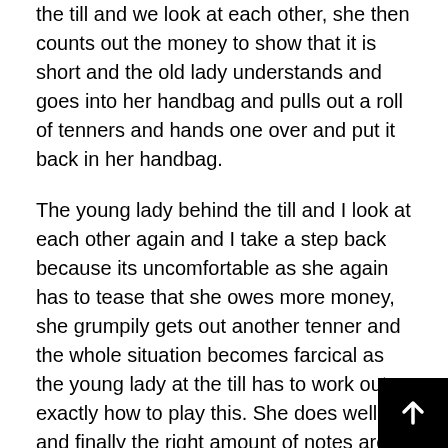the till and we look at each other, she then counts out the money to show that it is short and the old lady understands and goes into her handbag and pulls out a roll of tenners and hands one over and put it back in her handbag.
The young lady behind the till and I look at each other again and I take a step back because its uncomfortable as she again has to tease that she owes more money, she grumpily gets out another tenner and the whole situation becomes farcical as the young lady at the till has to work out exactly how to play this. She does well and finally the right amount of notes are passed over and we can all get on with the world. All strange and uncomfortable (but slightly amusing) but then you take a step back and think.
This old lady was flashing a lot of cash. If I was mo... unscrupulous than I am, I'd have made a note of th...